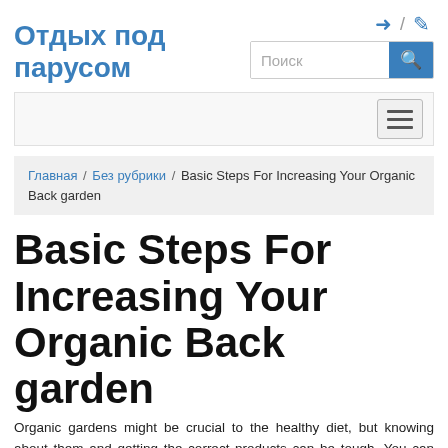Отдых под парусом
Поиск
Главная / Без рубрики / Basic Steps For Increasing Your Organic Back garden
Basic Steps For Increasing Your Organic Back garden
Organic gardens might be crucial to the healthy diet, but knowing about them and getting the correct products can be tough. You can pick from numerous plant seeds. The following advice must allow